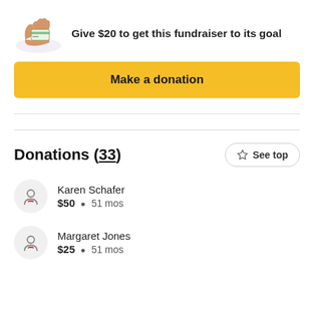Give $20 to get this fundraiser to its goal
Make a donation
Donations (33)
Karen Schafer $50 • 51 mos
Margaret Jones $25 • 51 mos